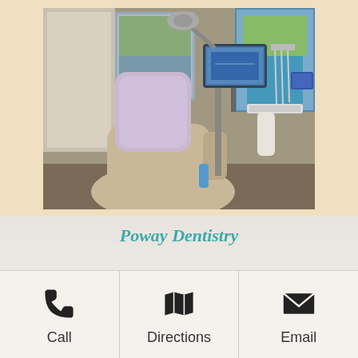[Figure (photo): Interior of a dental office showing a dental chair with a light lavender headrest cover, dental equipment arm with tools, a monitor on a stand, and colorful artwork on the wall in the background.]
Poway Dentistry
[Figure (infographic): Three action buttons in a horizontal bar: a phone/call icon labeled 'Call', a map/directions icon labeled 'Directions', and an envelope/email icon labeled 'Email'.]
Call
Directions
Email